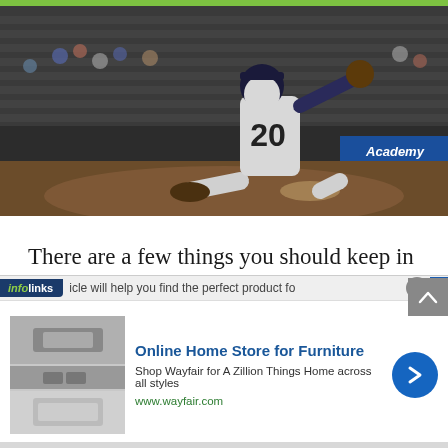[Figure (photo): Baseball pitcher wearing jersey number 20 in a white uniform, mid-pitch motion on a baseball field, with stadium seating and an Academy sports banner visible in the background.]
There are a few things you should keep in mind when choosing a shoulder brace for baseball.
[Figure (infographic): Advertisement overlay: infolinks tab with partially visible text '...icle will help you find the perfect product for'. Below is a Wayfair ad showing 'Online Home Store for Furniture', 'Shop Wayfair for A Zillion Things Home across all styles', 'www.wayfair.com', with a blue circle arrow button and thumbnail images of furniture.]